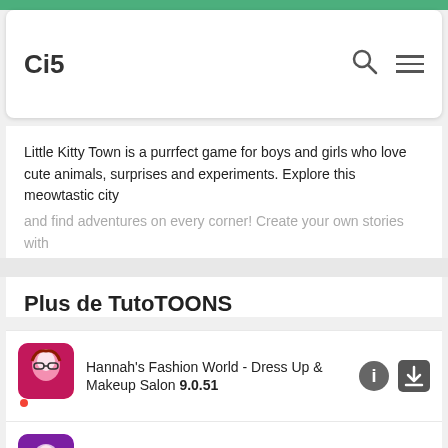Ci5
Little Kitty Town is a purrfect game for boys and girls who love cute animals, surprises and experiments. Explore this meowtastic city and find adventures on every corner! Create your own stories with
Show More... ∨
Plus de TutoTOONS
Hannah's Fashion World - Dress Up & Makeup Salon 9.0.51
Hannah's Cheerleader Girls - Dance & Fashion 5.0.18
Panda Lu Baby Bear Care 2.0.1